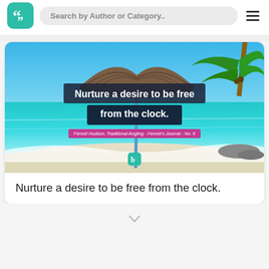Search by Author or Category..
[Figure (photo): Beach scene with turquoise water, white sand, a thatched beach umbrella, and a palm tree. Overlaid text reads 'Nurture a desire to be free from the clock.' with attribution 'Fennel Hudson, Traditional Angling - Fennel's Journal - No. 6']
Nurture a desire to be free from the clock.